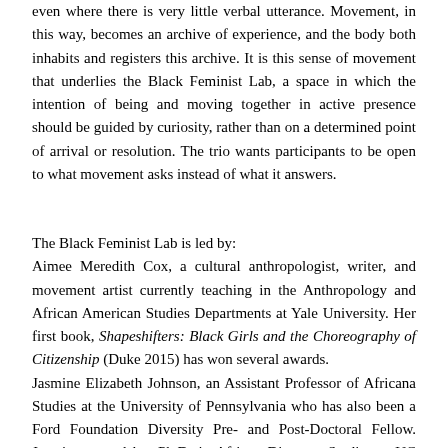even where there is very little verbal utterance. Movement, in this way, becomes an archive of experience, and the body both inhabits and registers this archive. It is this sense of movement that underlies the Black Feminist Lab, a space in which the intention of being and moving together in active presence should be guided by curiosity, rather than on a determined point of arrival or resolution. The trio wants participants to be open to what movement asks instead of what it answers.
The Black Feminist Lab is led by: Aimee Meredith Cox, a cultural anthropologist, writer, and movement artist currently teaching in the Anthropology and African American Studies Departments at Yale University. Her first book, Shapeshifters: Black Girls and the Choreography of Citizenship (Duke 2015) has won several awards. Jasmine Elizabeth Johnson, an Assistant Professor of Africana Studies at the University of Pennsylvania who has also been a Ford Foundation Diversity Pre- and Post-Doctoral Fellow. Jasmine earned her Ph.D. in African Diaspora Studies at UC Berkeley, and has been a Scholar-in-Residence at the Schomburg Center for Research in Black Culture, a Newhouse Center for the Humanities Fellow at Wellesley College, and a Postdoctoral Fellow in African American Studies at Northwestern University. In 2016, Johnson was awarded the Michele le Weber IFG Award